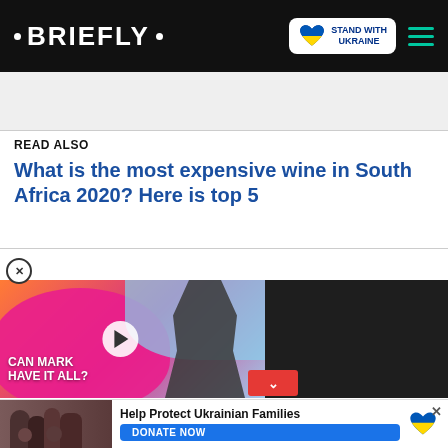• BRIEFLY •
READ ALSO
What is the most expensive wine in South Africa 2020? Here is top 5
[Figure (screenshot): Video advertisement showing a man with text 'CAN MARK HAVE IT ALL?' with a play button overlay, alongside a dark background area and a red chevron button]
[Figure (infographic): Bottom donation banner: photo of people, text 'Help Protect Ukrainian Families', blue DONATE NOW button, Ukraine heart logo]